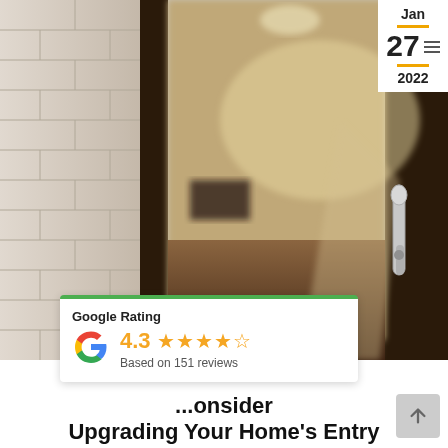[Figure (photo): Interior view through an open dark wood door showing a hallway with parquet flooring, white brick wall on the left, and a silver door handle on the right. Date badge overlay shows Jan 27 2022 in top right corner.]
[Figure (infographic): Google Rating badge showing 4.3 stars based on 151 reviews, with green top border and Google 'G' logo.]
...onsider Upgrading Your Home's Entry